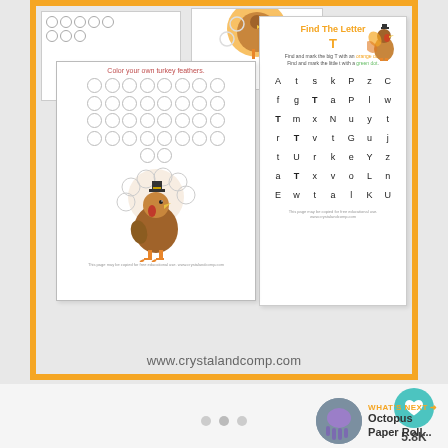[Figure (illustration): Educational worksheet pack for Thanksgiving turkey theme. Shows multiple printable pages including a dot painting turkey worksheet titled 'Color your own turkey feathers', a 'Find The Letter T' word search activity with a letter grid, and small turkey illustrations. URL www.crystalandcomp.com shown at bottom of image. Orange border around the collage.]
[Figure (screenshot): Like/heart button (teal circle with white heart icon) showing count 5.8K. Share button below. WHAT'S NEXT arrow with Octopus Paper Roll... thumbnail preview in bottom right.]